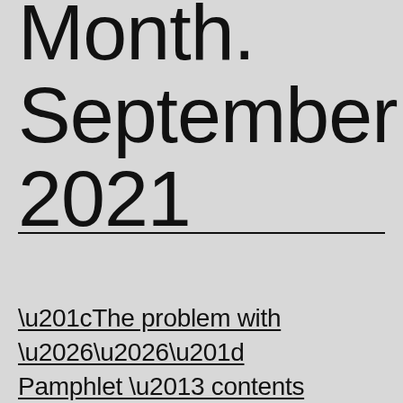Month. September 2021
“The problem with .....” Pamphlet – contents